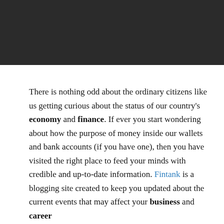[Figure (other): Dark grey/black header banner across the top of the page]
There is nothing odd about the ordinary citizens like us getting curious about the status of our country's economy and finance. If ever you start wondering about how the purpose of money inside our wallets and bank accounts (if you have one), then you have visited the right place to feed your minds with credible and up-to-date information. Fintank is a blogging site created to keep you updated about the current events that may affect your business and career